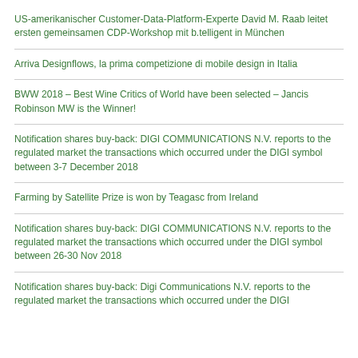US-amerikanischer Customer-Data-Platform-Experte David M. Raab leitet ersten gemeinsamen CDP-Workshop mit b.telligent in München
Arriva Designflows, la prima competizione di mobile design in Italia
BWW 2018 – Best Wine Critics of World have been selected – Jancis Robinson MW is the Winner!
Notification shares buy-back: DIGI COMMUNICATIONS N.V. reports to the regulated market the transactions which occurred under the DIGI symbol between 3-7 December 2018
Farming by Satellite Prize is won by Teagasc from Ireland
Notification shares buy-back: DIGI COMMUNICATIONS N.V. reports to the regulated market the transactions which occurred under the DIGI symbol between 26-30 Nov 2018
Notification shares buy-back: Digi Communications N.V. reports to the regulated market the transactions which occurred under the DIGI